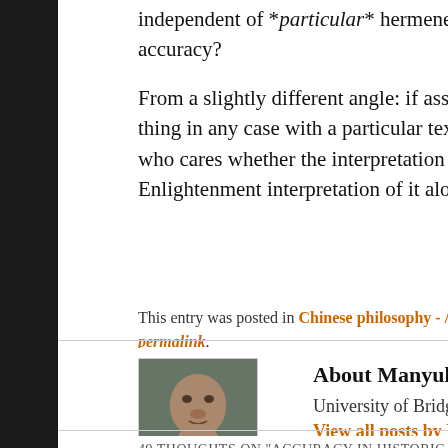independent of *particular* hermeneutic aims that might (or might not) be served by accuracy?
From a slightly different angle: if assessment of accuracy is likely to be an elusive thing in any case with a particular text–for example, the Daodejing (Tao Te Ching)–who cares whether the interpretation is accurate or not? (Leave my German Enlightenment interpretation of it alone, man!)
This entry was posted in Chinese philosophy - //// - ////, Hermeneutics, History by Manyul Im. Bookmark the permalink.
About Manyul Im
University of Bridgeport
View all posts by Manyul Im →
49 THOUGHTS ON "ACCURACY IN HISTORICAL INTERPRETATIONS"